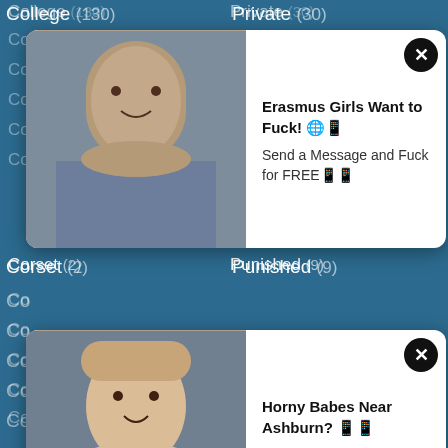College (130)
Private (30)
Corset (2)
Punished (9)
Country (8)
Red (333)
Couple (276)
Redhead (225)
Cousin (16)
Retro (81)
Cowgirl (292)
Revenge (7)
Crazy (119)
Rich (14)
Creampie (610)
Riding (60)
Crossdress (5)
Role (20)
Cuckold (250)
Rough (213)
Cum (1592)
Russian (168)
[Figure (screenshot): Ad popup: woman with dark hair, text 'Erasmus Girls Want to Fuck! Send a Message and Fuck for FREE']
[Figure (screenshot): Ad popup: woman with blonde hair, text 'Horny Babes Near Ashburn? Why the FUCK would you pay for SEX?']